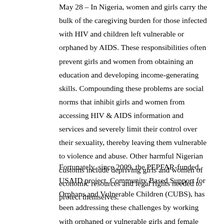May 28 – In Nigeria, women and girls carry the bulk of the caregiving burden for those infected with HIV and children left vulnerable or orphaned by AIDS. These responsibilities often prevent girls and women from obtaining an education and developing income-generating skills. Compounding these problems are social norms that inhibit girls and women from accessing HIV & AIDS information and services and severely limit their control over their sexuality, thereby leaving them vulnerable to violence and abuse. Other harmful Nigerian customs include depriving girls and women of economic resources and legal rights needed to protect themselves.
Fortunately, since 2009, the PEPFAR-funded, USAID project, Community Based Support for Orphans and Vulnerable Children (CUBS), has been addressing these challenges by working with orphaned or vulnerable girls and female caregivers, as well as key stakeholders at national, state, and community levels. In 2012, for example, the MSH-led CUBS conducted gender training for 260